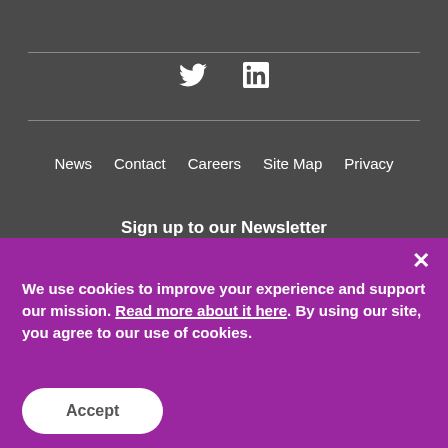[Figure (other): Twitter and LinkedIn social media icons in white on dark gray background]
News   Contact   Careers   Site Map   Privacy
Sign up to our Newsletter
We use cookies to improve your experience and support our mission. Read more about it here. By using our site, you agree to our use of cookies.
Accept